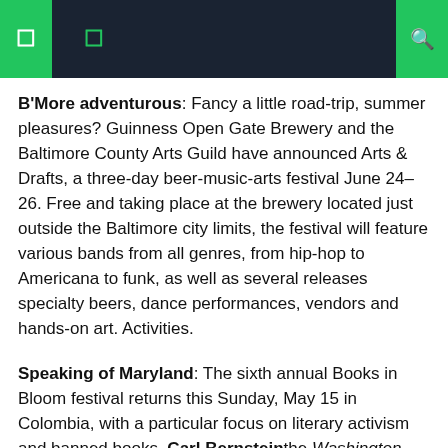[navigation header bar with icons]
B'More adventurous: Fancy a little road-trip, summer pleasures? Guinness Open Gate Brewery and the Baltimore County Arts Guild have announced Arts & Drafts, a three-day beer-music-arts festival June 24-26. Free and taking place at the brewery located just outside the Baltimore city limits, the festival will feature various bands from all genres, from hip-hop to Americana to funk, as well as several releases specialty beers, dance performances, vendors and hands-on art. Activities.
Speaking of Maryland: The sixth annual Books in Bloom festival returns this Sunday, May 15 in Colombia, with a particular focus on literary activism and banned books. Carl Bernstein the Washington Post journalist famous for making Watergate headlines with Don't admit this to anyone author Leslie Pietrzyk from Baltimore Amanda Montell, John Paul